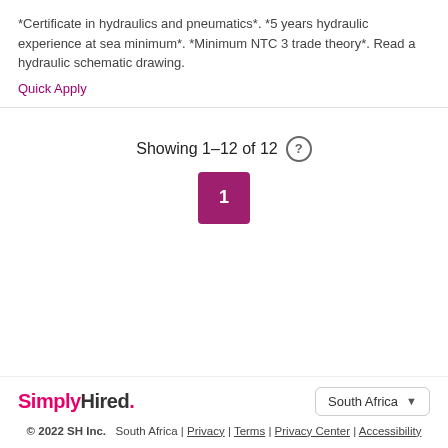*Certificate in hydraulics and pneumatics*. *5 years hydraulic experience at sea minimum*. *Minimum NTC 3 trade theory*. Read a hydraulic schematic drawing.
Quick Apply
Showing 1-12 of 12
SimplyHired. © 2022 SH Inc. South Africa | Privacy | Terms | Privacy Center | Accessibility